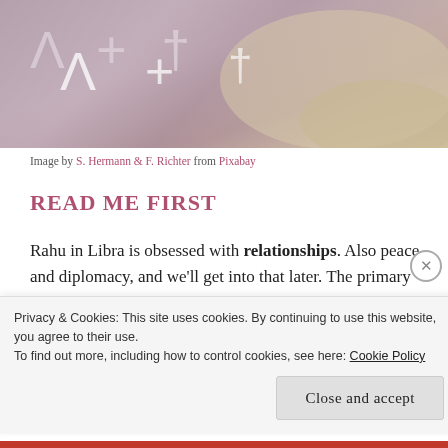[Figure (photo): Photograph of mathematical symbols (lambda, plus, etc.) drawn in purple/mauve sand or powder, with sandy/rocky texture in background]
Image by S. Hermann & F. Richter from Pixabay
READ ME FIRST
Rahu in Libra is obsessed with relationships. Also peace and diplomacy, and we'll get into that later. The primary desire of Libra is to be in (a perfect) union with another, and because Rahu is where we
Privacy & Cookies: This site uses cookies. By continuing to use this website, you agree to their use.
To find out more, including how to control cookies, see here: Cookie Policy
Close and accept